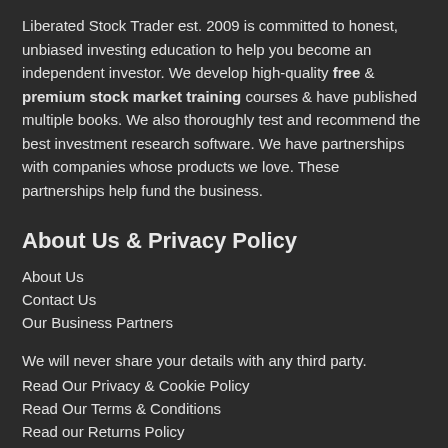Liberated Stock Trader est. 2009 is committed to honest, unbiased investing education to help you become an independent investor. We develop high-quality free & premium stock market training courses & have published multiple books. We also thoroughly test and recommend the best investment research software. We have partnerships with companies whose products we love. These partnerships help fund the business.
About Us & Privacy Policy
About Us
Contact Us
Our Business Partners
We will never share your details with any third party.
Read Our Privacy & Cookie Policy
Read Our Terms & Conditions
Read our Returns Policy
Content Copyright © Liberated Stock Trader 2022. All Rights